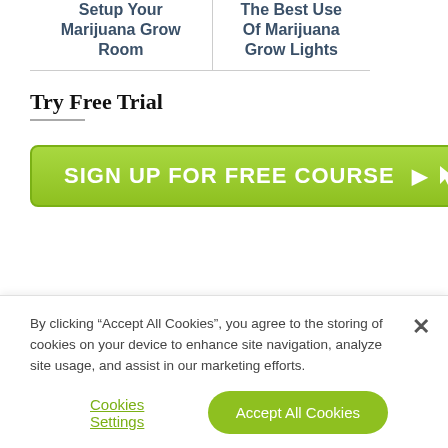| Setup Your Marijuana Grow Room | The Best Use Of Marijuana Grow Lights |
| --- | --- |
Try Free Trial
[Figure (other): Green button with white bold text reading 'SIGN UP FOR FREE COURSE' with a cursor icon]
By clicking “Accept All Cookies”, you agree to the storing of cookies on your device to enhance site navigation, analyze site usage, and assist in our marketing efforts.
Cookies Settings
Accept All Cookies